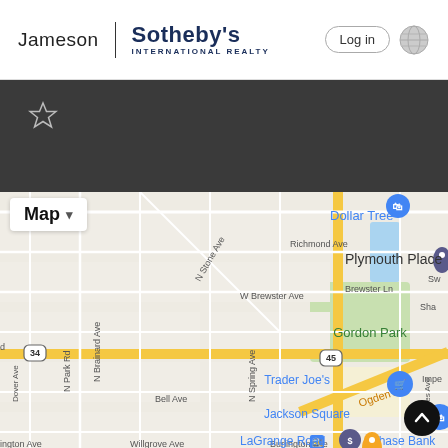[Figure (logo): Jameson Sotheby's International Realty logo with vertical divider bar]
Log in
[Figure (other): Dark banner with star/favorite icon in upper left]
[Figure (map): Google Maps view showing LaGrange area with streets including N Stone Ave, N Brainard Ave, N Spring Ave, W Brewster Ave, Bell Ave, Ogden Ave, Burlington Ave. Landmarks: Dollar Tree, Plymouth Place, Gordon Park, Trader Joe's, Jackson Square, LaGrange Road, Chase Bank. Route markers for roads 34 and 45 visible.]
Map ▾